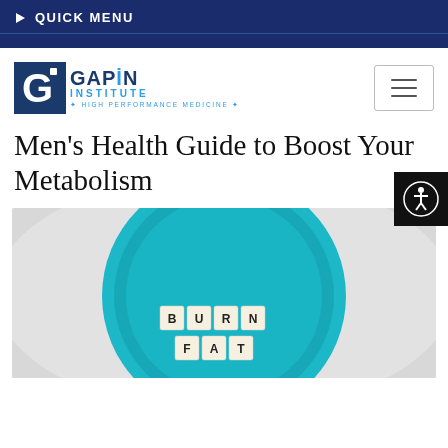QUICK MENU
[Figure (logo): Gapin Institute logo with 'G' icon and tagline 'HIGH PERFORMANCE MEDICINE']
Men's Health Guide to Boost Your Metabolism
[Figure (photo): A teal/blue plate on a light grey background with scrabble tiles spelling 'BURN FAT']